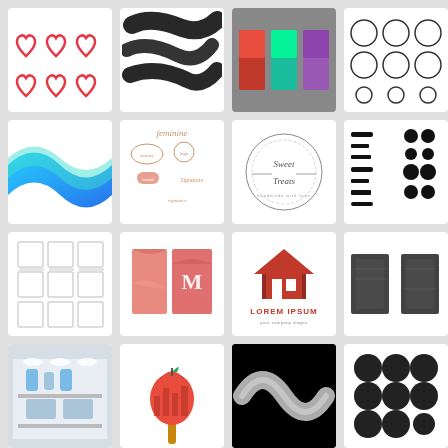[Figure (illustration): Six red outline hearts arranged in 2 rows of 3 on white background]
[Figure (illustration): Black ink brush strokes on white background]
[Figure (illustration): Colorful neon squares on gray background]
[Figure (illustration): Black and white circle outlines arranged in grid on white background]
[Figure (illustration): Blue watercolor wave on white background]
[Figure (illustration): Feminine logo collection with rose gold badges and script fonts]
[Figure (logo): Sweet Treats circular hand-drawn calligraphy logo]
[Figure (illustration): Black ink brush strokes and dots on white background]
[Figure (illustration): Nine white squares with shadow outlines arranged in 3x3 grid]
[Figure (illustration): Pink marble business card mockup with letter M]
[Figure (logo): Lorem Ipsum real estate house logo in red on white background]
[Figure (illustration): Black and white grunge brush texture strips]
[Figure (photo): Interior display shelf with blue water bottles]
[Figure (illustration): Apple popsicle with paint brush handle and city buildings]
[Figure (illustration): Silver metallic spiral brush stroke on black background]
[Figure (illustration): Nine black circles arranged in 3x3 grid on white background]
[Figure (illustration): Black grunge brush stroke with GRUNGE text on white]
[Figure (illustration): Black and white mountain silhouette]
[Figure (illustration): Yellow background with black paint splatter and running figure]
[Figure (illustration): Bright cyan/blue solid color card]